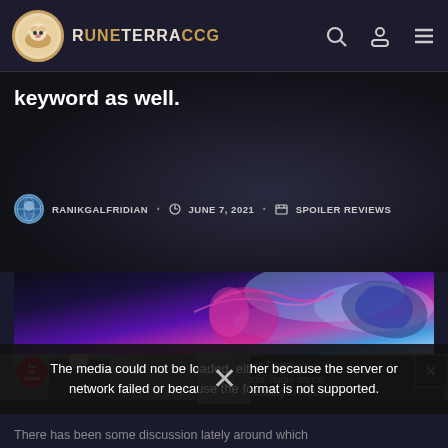RUNETERRACCG
keyword as well.
RANIKGALFRIDIAN · JUNE 7, 2021 · SPOILER REVIEWS
[Figure (illustration): Game artwork banner showing colorful fantasy game characters]
[Figure (photo): Video ad overlay showing a person in a suit with Louis Theroux's Jiggie Jiggie dance is heading to Fortnite text and a media error message]
The media could not be loaded, either because the server or network failed or because the format is not supported.
There has been some discussion lately around which